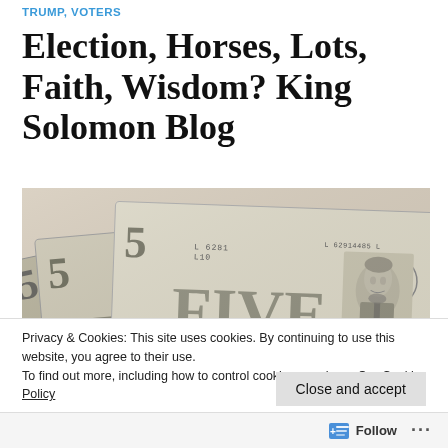TRUMP, VOTERS
Election, Horses, Lots, Faith, Wisdom? King Solomon Blog
[Figure (photo): Close-up photo of multiple US five-dollar bills fanned out, showing Lincoln's portrait, serial numbers, and 'FIVE' text prominently.]
Privacy & Cookies: This site uses cookies. By continuing to use this website, you agree to their use.
To find out more, including how to control cookies, see here: Our Cookie Policy
Close and accept
Follow